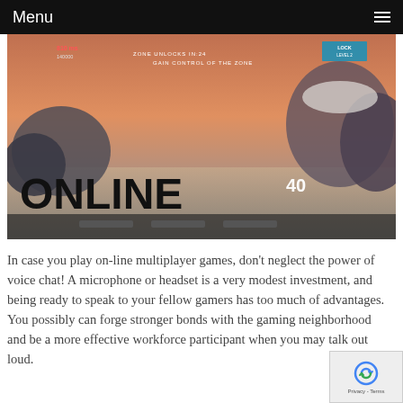Menu
[Figure (screenshot): Screenshot of an online multiplayer first-person shooter mobile game. The screen shows a snowy/rocky outdoor environment with the text 'GAIN CONTROL OF THE ZONE' at the top center. The word 'ONLINE' is displayed in large bold black text at the bottom left. A golden assault rifle is visible on the right side. HUD elements include ammo count '40', a 'LOCK LEVEL 2' badge, and health/score indicators.]
In case you play on-line multiplayer games, don't neglect the power of voice chat! A microphone or headset is a very modest investment, and being ready to speak to your fellow gamers has too much of advantages. You possibly can forge stronger bonds with the gaming neighborhood and be a more effective workforce participant when you may talk out loud.